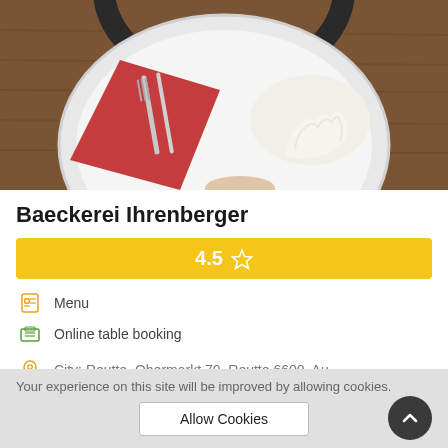[Figure (photo): Top-down view of a white plate with a red napkin and silverware (fork and knife) on the left, and whipped cream on the right, on a wooden table background.]
Baeckerei Ihrenberger
4.5 ☆
Menu
Online table booking
City: Reutte, Obermarkt 79, Reutte 6600, Au...
The restaurant also offers food and drinks at
Your experience on this site will be improved by allowing cookies.
Allow Cookies